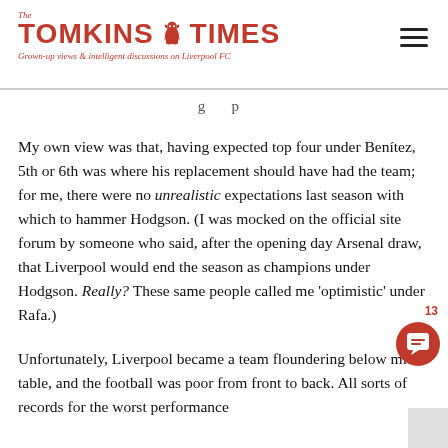The Tomkins Times — Grown-up views & intelligent discussions on Liverpool FC
My own view was that, having expected top four under Benítez, 5th or 6th was where his replacement should have had the team; for me, there were no unrealistic expectations last season with which to hammer Hodgson. (I was mocked on the official site forum by someone who said, after the opening day Arsenal draw, that Liverpool would end the season as champions under Hodgson. Really? These same people called me 'optimistic' under Rafa.)
Unfortunately, Liverpool became a team floundering below mid-table, and the football was poor from front to back. All sorts of records for the worst performance...